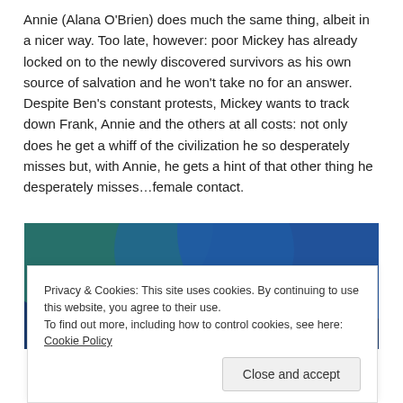Annie (Alana O'Brien) does much the same thing, albeit in a nicer way. Too late, however: poor Mickey has already locked on to the newly discovered survivors as his own source of salvation and he won't take no for an answer. Despite Ben's constant protests, Mickey wants to track down Frank, Annie and the others at all costs: not only does he get a whiff of the civilization he so desperately misses but, with Annie, he gets a hint of that other thing he desperately misses…female contact.
[Figure (screenshot): A partial screenshot showing a blue gradient background with a pink/magenta rectangular element and a circular element, cropped at the bottom of the visible area.]
Privacy & Cookies: This site uses cookies. By continuing to use this website, you agree to their use.
To find out more, including how to control cookies, see here: Cookie Policy